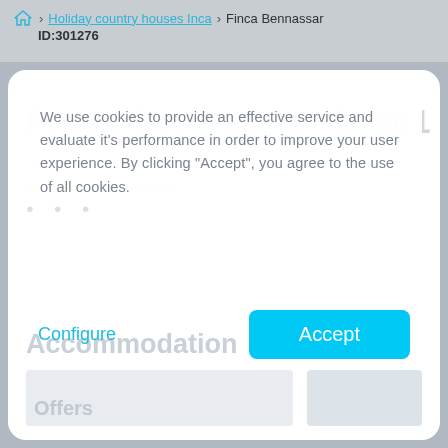🏠 › Holiday country houses Inca › Finca Bennassar ID:301276
Finca Bennassar ID:301276
We use cookies to provide an effective service and evaluate it's performance in order to improve your user experience. By clicking "Accept", you agree to the use of all cookies.
Configure
Accept
Accommodation
Offers